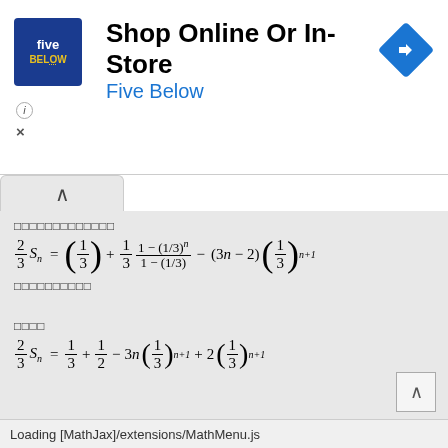[Figure (other): Five Below advertisement banner: logo, 'Shop Online Or In-Store', 'Five Below' brand name, navigation arrow icon]
□□□□□□□□□□□□□
□□□□□□□□□□
□□□□
Loading [MathJax]/extensions/MathMenu.js